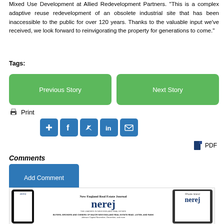Mixed Use Development at Allied Redevelopment Partners. “This is a complex adaptive reuse redevelopment of an obsolete industrial site that has been inaccessible to the public for over 120 years. Thanks to the valuable input we’ve received, we look forward to reinvigorating the property for generations to come.”
Tags:
[Figure (other): Two green navigation buttons labeled 'Previous Story' and 'Next Story']
[Figure (other): Print icon with text 'Print']
[Figure (other): Social sharing icons: add/plus, Facebook, Twitter, LinkedIn, Email — all in blue square buttons]
[Figure (other): PDF icon with text 'PDF']
Comments
[Figure (other): Blue button labeled 'Add Comment']
[Figure (other): New England Real Estate Journal NEREJ magazine displayed on phone and tablet devices]